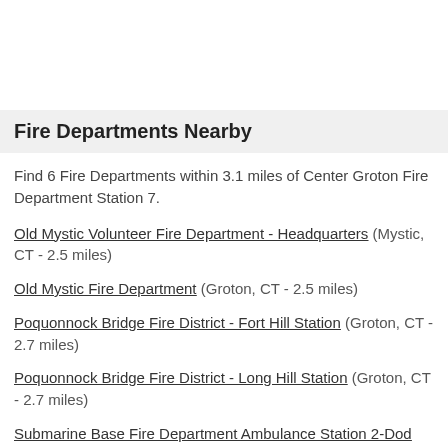Fire Departments Nearby
Find 6 Fire Departments within 3.1 miles of Center Groton Fire Department Station 7.
Old Mystic Volunteer Fire Department - Headquarters (Mystic, CT - 2.5 miles)
Old Mystic Fire Department (Groton, CT - 2.5 miles)
Poquonnock Bridge Fire District - Fort Hill Station (Groton, CT - 2.7 miles)
Poquonnock Bridge Fire District - Long Hill Station (Groton, CT - 2.7 miles)
Submarine Base Fire Department Ambulance Station 2-Dod (Groton, CT - 2.9 miles)